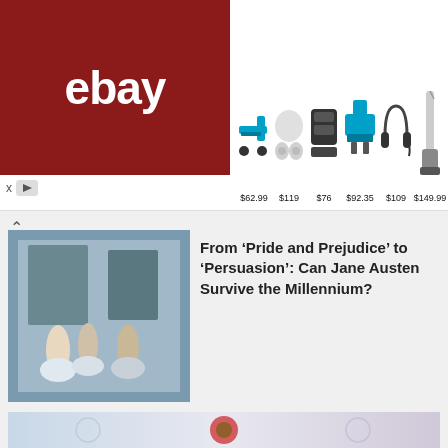[Figure (other): eBay advertisement banner showing logo and product listings with prices: $62.99 (power tool), $119 (earbuds), $76 (speaker), $92.35 (drill kit), $109 (headphones), $149.99 (vacuum)]
[Figure (photo): Thumbnail image of a period costume drama scene, appears to be a Jane Austen adaptation]
From ‘Pride and Prejudice’ to ‘Persuasion’: Can Jane Austen Survive the Millennium?
[Figure (photo): Artistic photo of a decorative red flower (daisy/sunflower) with an eye motif in the center, mounted on what appears to be a vintage typewriter, with a swirling iridescent background]